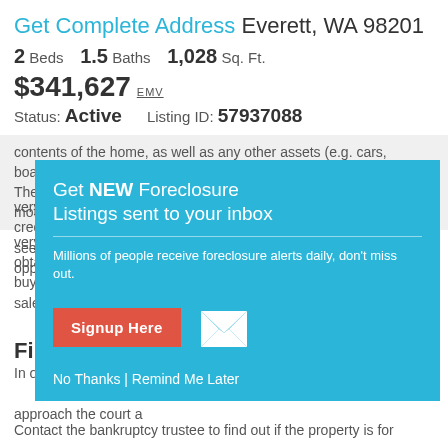Get Complete Address Everett, WA 98201
2 Beds   1.5 Baths   1,028 Sq. Ft.
$341,627 EMV
Status: Active   Listing ID: 57937088
contents of the home, as well as any other assets (e.g. cars, boats, etc.), are also often included in a bankruptcy estate. The court-appointed receiver / trustee is almost always motivated to sell a property very fast -- there is a need to obtain funds to pay creditors -- making the buyer and/or investor seeking a bankruptcy sale in Everett, WA a good opportunity.
[Figure (infographic): Teal/cyan popup modal overlay: 'Get NEW Foreclosure Listings sent to your inbox' with subtitle 'Millions of people receive foreclosure alerts daily, don't miss out.' A red 'Signup Here' button, an envelope icon, and links 'No Thanks | Remind Me Later'.]
First Steps to B…
In order to purchase approach the court a deal.
Contact the bankruptcy trustee to find out if the property is for